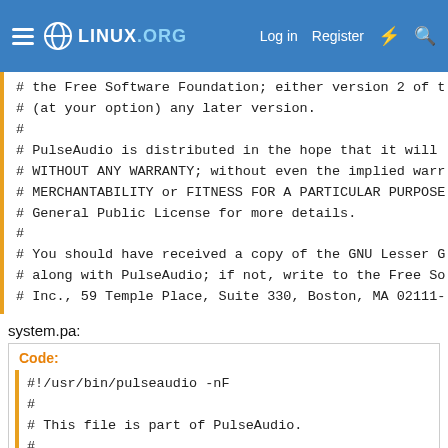LINUX.ORG  Log in  Register
# the Free Software Foundation; either version 2 of t
# (at your option) any later version.
#
# PulseAudio is distributed in the hope that it will
# WITHOUT ANY WARRANTY; without even the implied warr
# MERCHANTABILITY or FITNESS FOR A PARTICULAR PURPOSE
# General Public License for more details.
#
# You should have received a copy of the GNU Lesser G
# along with PulseAudio; if not, write to the Free So
# Inc., 59 Temple Place, Suite 330, Boston, MA 02111-
system.pa:
Code:
#!/usr/bin/pulseaudio -nF
#
# This file is part of PulseAudio.
#
# PulseAudio is free software; you can redistribute i
# under the terms of the GNU Lesser General Public Li
# the Free Software Foundation; either version 2 of t